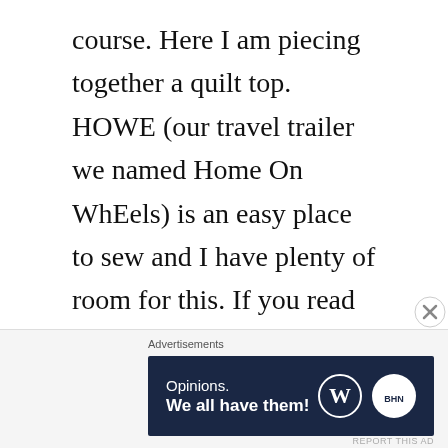course. Here I am piecing together a quilt top. HOWE (our travel trailer we named Home On WhEels) is an easy place to sew and I have plenty of room for this. If you read past posts, you know I am using a sewing table from SewEZi. I recommend it 100%. It is very sturdy and holds my machine perfectly. It also folds up and fits in the storage under our bed.
[Figure (screenshot): WordPress advertisement banner with text 'Opinions. We all have them!' on dark navy background with WordPress and BHN logos]